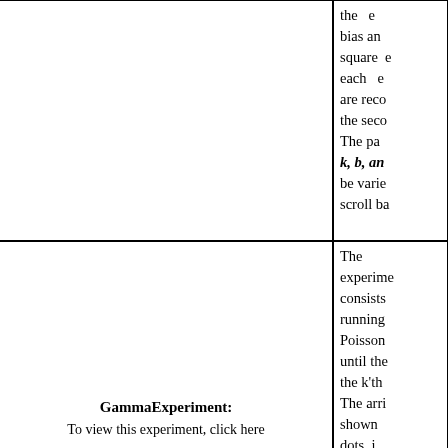the e bias and square e each e are reco the seco The pa k, b, an be varie scroll ba
[Figure (other): Empty left panel of top row, likely containing an interactive experiment screenshot (not visible)]
[Figure (other): Empty left panel of bottom row, likely containing an interactive experiment screenshot (not visible)]
The experime consists running Poisson until the the k'th The arri shown dots i timeline. density
GammaExperiment:
To view this experiment, click here